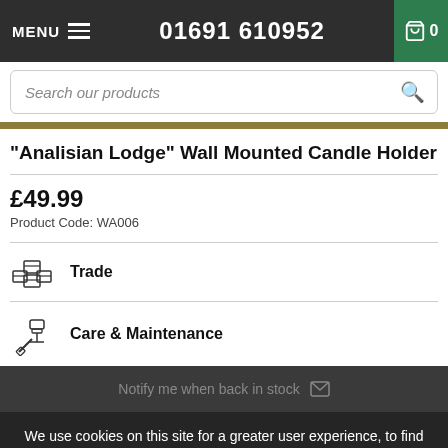MENU  01691 610952  0
Search our products
"Analisian Lodge" Wall Mounted Candle Holder
£49.99
Product Code: WA006
Trade
Care & Maintenance
Notify me when back in stock
We use cookies on this site for a greater user experience, to find out more, view our cookie policy.
Product Specification Overview